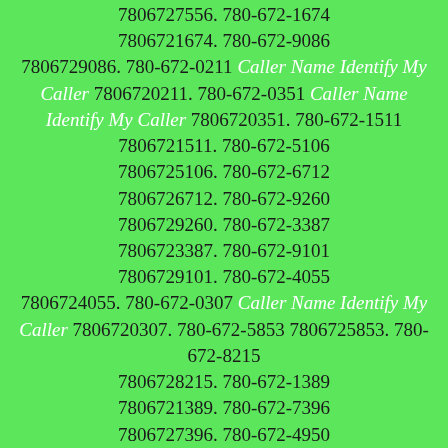7806727556. 780-672-1674 7806721674. 780-672-9086 7806729086. 780-672-0211 Caller Name Identify My Caller 7806720211. 780-672-0351 Caller Name Identify My Caller 7806720351. 780-672-1511 7806721511. 780-672-5106 7806725106. 780-672-6712 7806726712. 780-672-9260 7806729260. 780-672-3387 7806723387. 780-672-9101 7806729101. 780-672-4055 7806724055. 780-672-0307 Caller Name Identify My Caller 7806720307. 780-672-5853 7806725853. 780-672-8215 7806728215. 780-672-1389 7806721389. 780-672-7396 7806727396. 780-672-4950 7806724950. 780-672-6873 7806726873. 780-672-2614 7806722614. 780-672-4204 7806724204. 780-672-4411 7806724411. 780-672-8591 7806728591. 780-672-2276 7806722276. 780-672-7535 7806727535. 780-672-9884